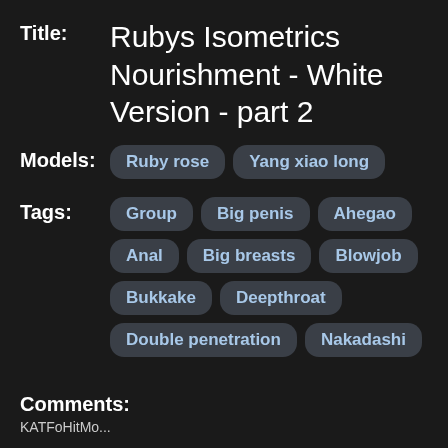Title: Rubys Isometrics Nourishment - White Version - part 2
Models: Ruby rose, Yang xiao long
Tags: Group, Big penis, Ahegao, Anal, Big breasts, Blowjob, Bukkake, Deepthroat, Double penetration, Nakadashi
Comments: